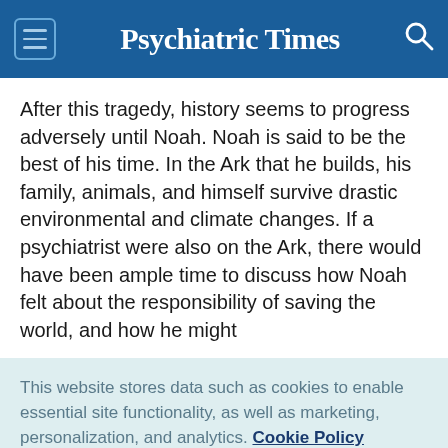Psychiatric Times
After this tragedy, history seems to progress adversely until Noah. Noah is said to be the best of his time. In the Ark that he builds, his family, animals, and himself survive drastic environmental and climate changes. If a psychiatrist were also on the Ark, there would have been ample time to discuss how Noah felt about the responsibility of saving the world, and how he might
This website stores data such as cookies to enable essential site functionality, as well as marketing, personalization, and analytics. Cookie Policy
Accept
Deny